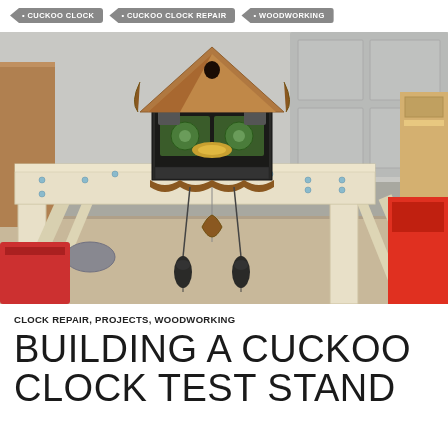• CUCKOO CLOCK   • CUCKOO CLOCK REPAIR   • WOODWORKING
[Figure (photo): A wooden cuckoo clock test stand made of light pine lumber. The stand has an arch shape with two legs. A cuckoo clock with its front open, showing the internal mechanism with gears and bellows, sits on top of the horizontal beam. Two black pine cone weights hang below the clock. A decorative pendulum is visible. The stand sits on a tiled floor in what appears to be a home workshop or garage setting.]
CLOCK REPAIR, PROJECTS, WOODWORKING
BUILDING A CUCKOO CLOCK TEST STAND